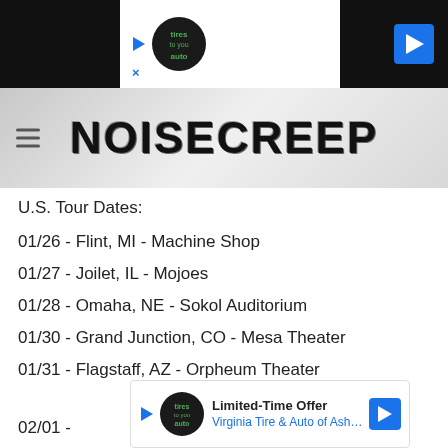[Figure (screenshot): Top advertisement banner with dark background, play button, auto service logo, and navigation arrow on right]
NOISECREEP
U.S. Tour Dates:
01/26 - Flint, MI - Machine Shop
01/27 - Joilet, IL - Mojoes
01/28 - Omaha, NE - Sokol Auditorium
01/30 - Grand Junction, CO - Mesa Theater
01/31 - Flagstaff, AZ - Orpheum Theater
02/01 -
[Figure (screenshot): Bottom advertisement for Virginia Tire & Auto of Ashburn with logo, Limited-Time Offer text, and navigation arrow]